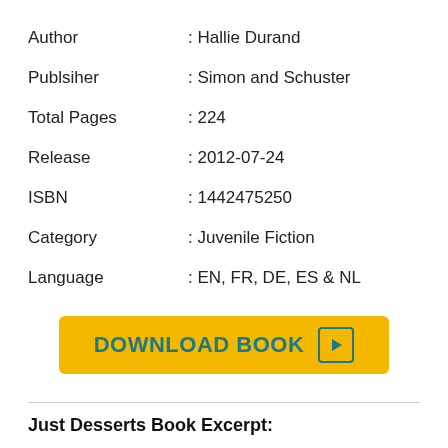Author : Hallie Durand
Publsiher : Simon and Schuster
Total Pages : 224
Release : 2012-07-24
ISBN : 1442475250
Category : Juvenile Fiction
Language : EN, FR, DE, ES & NL
[Figure (other): Yellow download button with text DOWNLOAD BOOK and a play icon]
Just Desserts Book Excerpt:
Dessert and her lunch-table buddies have been exposed to a highly contagious disease—the Annoying Sibling Disease. And while it seems like a joke at first, the D...